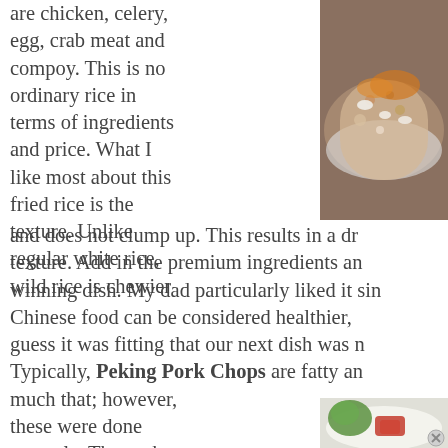are chicken, celery, egg, crab meat and compoy. This is no ordinary rice in terms of ingredients and price. What I like most about this fried rice is the texture. Unlike regular white rice, wild rice is chewier and does not clump up. This results in a drier texture. Add in the premium ingredients and winning dish. My dad particularly liked it since Chinese food can be considered healthier, guess it was fitting that our next dish was Typically, Peking Pork Chops are fatty and much that; however, these were done properly. The pork was tenderized to
[Figure (photo): Close-up photo of fried rice dish with what appears to be wild rice, crab meat, and garnishes on a white plate]
[Figure (photo): Photo of Peking Pork Chops dish with green vegetables and red sauce on a white plate]